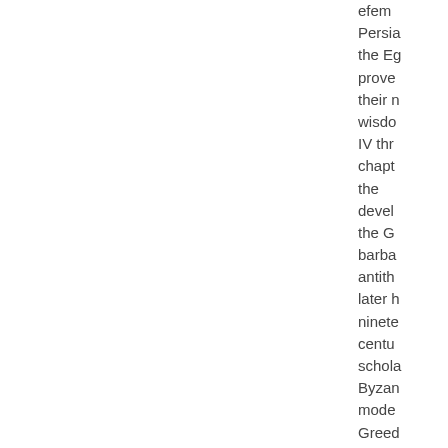efem Persia the Eg prove their n wisdo IV thr chapt the devel the G barba antith later h ninete centu schola Byzan mode Greed weste intelle histor